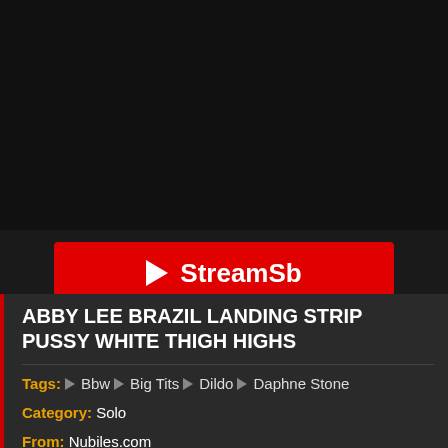[Figure (screenshot): Dark background video thumbnail area (black/dark gray)]
▶ StreamSb
▶ StreamTape
ABBY LEE BRAZIL LANDING STRIP PUSSY WHITE THIGH HIGHS
Tags: Bbw  Big Tits  Dildo  Daphne Stone
Category: Solo
From: Nubiles.com